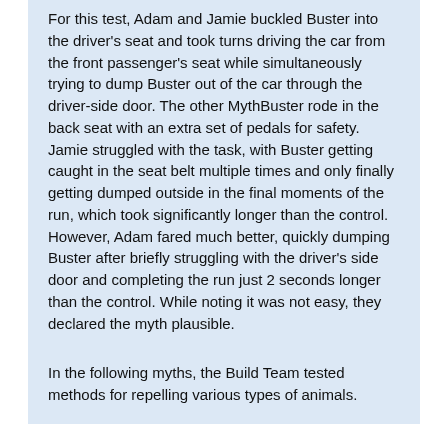For this test, Adam and Jamie buckled Buster into the driver's seat and took turns driving the car from the front passenger's seat while simultaneously trying to dump Buster out of the car through the driver-side door. The other MythBuster rode in the back seat with an extra set of pedals for safety. Jamie struggled with the task, with Buster getting caught in the seat belt multiple times and only finally getting dumped outside in the final moments of the run, which took significantly longer than the control. However, Adam fared much better, quickly dumping Buster after briefly struggling with the driver's side door and completing the run just 2 seconds longer than the control. While noting it was not easy, they declared the myth plausible.
In the following myths, the Build Team tested methods for repelling various types of animals.